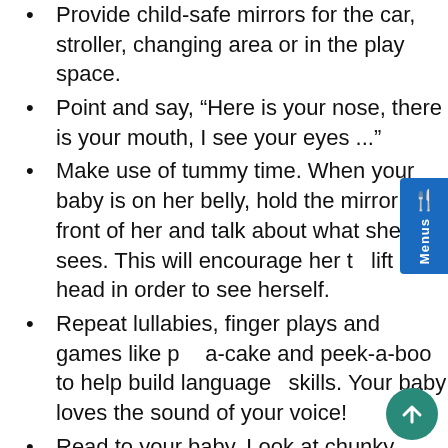Babies love to look at themselves in the mirror. Provide child-safe mirrors for the car, stroller, changing area or in the play space.
Point and say, “Here is your nose, there is your mouth, I see your eyes ...”
Make use of tummy time. When your baby is on her belly, hold the mirror in front of her and talk about what she sees. This will encourage her to lift her head in order to see herself.
Repeat lullabies, finger plays and games like pat-a-cake and peek-a-boo to help build language skills. Your baby loves the sound of your voice!
Read to your baby. Look at chunky board books with colorful pictures. Let baby hold the book and turn the pages. This builds a solid foundation for learning to read.
While reading, point out objects, shapes and colors and ask your baby what he thinks is